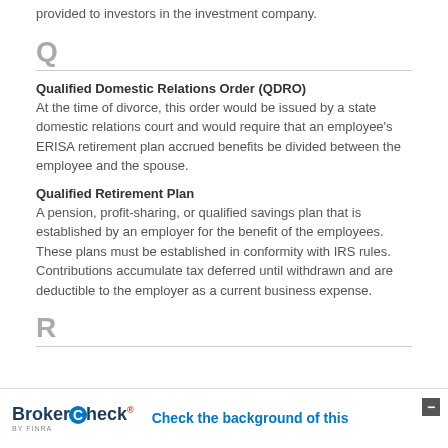provided to investors in the investment company.
Q
Qualified Domestic Relations Order (QDRO)
At the time of divorce, this order would be issued by a state domestic relations court and would require that an employee's ERISA retirement plan accrued benefits be divided between the employee and the spouse.
Qualified Retirement Plan
A pension, profit-sharing, or qualified savings plan that is established by an employer for the benefit of the employees. These plans must be established in conformity with IRS rules. Contributions accumulate tax deferred until withdrawn and are deductible to the employer as a current business expense.
R
BrokerCheck® by FINRA — Check the background of this